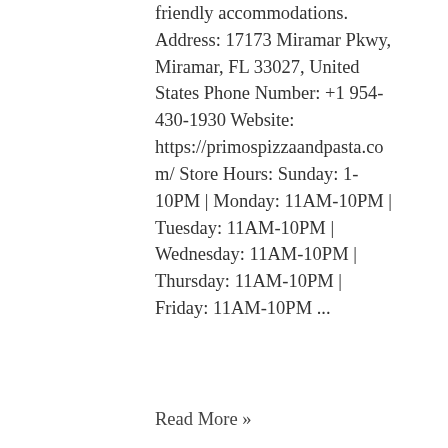friendly accommodations. Address: 17173 Miramar Pkwy, Miramar, FL 33027, United States Phone Number: +1 954-430-1930 Website: https://primospizzaandpasta.com/ Store Hours: Sunday: 1-10PM | Monday: 11AM-10PM | Tuesday: 11AM-10PM | Wednesday: 11AM-10PM | Thursday: 11AM-10PM | Friday: 11AM-10PM ...
Read More »